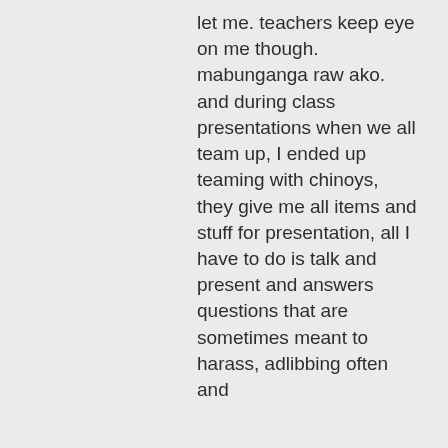let me. teachers keep eye on me though. mabunganga raw ako. and during class presentations when we all team up, I ended up teaming with chinoys, they give me all items and stuff for presentation, all I have to do is talk and present and answers questions that are sometimes meant to harass, adlibbing often and